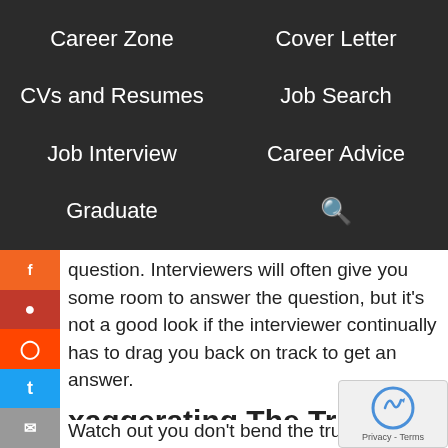Career Zone | Cover Letter | CVs and Resumes | Job Search | Job Interview | Career Advice | Graduate | Search
question. Interviewers will often give you some room to answer the question, but it's not a good look if the interviewer continually has to drag you back on track to get an answer.
xaggerating The Truth
Watch out you don't bend the truth.  Often candidates tell white lies about their